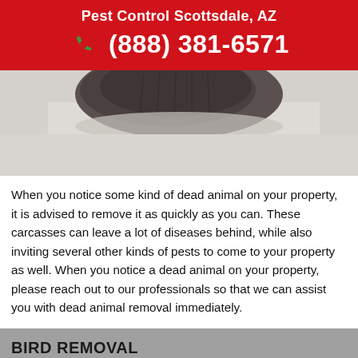Pest Control Scottsdale, AZ
(888) 381-6571
[Figure (photo): Close-up photo of a dead animal (appears to be a rodent or small mammal) with gray fur, on a light background.]
When you notice some kind of dead animal on your property, it is advised to remove it as quickly as you can. These carcasses can leave a lot of diseases behind, while also inviting several other kinds of pests to come to your property as well. When you notice a dead animal on your property, please reach out to our professionals so that we can assist you with dead animal removal immediately.
BIRD REMOVAL